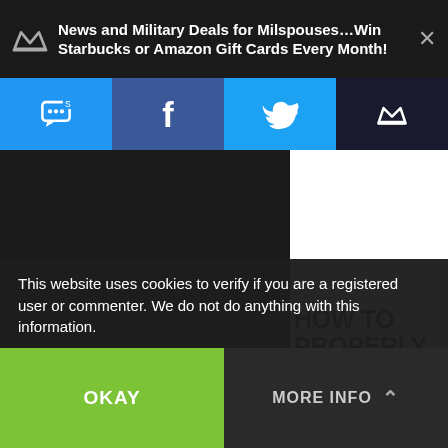News and Military Deals for Milspouses…Win Starbucks or Amazon Gift Cards Every Month!
[Figure (screenshot): Social sharing bar with SMS, Facebook, Twitter, and crown/notification icons on colored backgrounds]
ed, Military Discounts, Onpost Living, Past
HOW TO PROPERLY COOK TIPS AND TURKEY FROM BUTTERBALL
This website uses cookies to verify if you are a registered user or commenter. We do not do anything with this information.
OKAY
MORE INFO